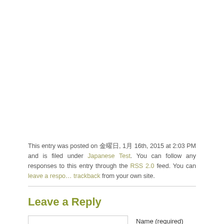This entry was posted on 金曜日, 1月 16th, 2015 at 2:03 PM and is filed under Japanese Test. You can follow any responses to this entry through the RSS 2.0 feed. You can leave a response, or trackback from your own site.
Leave a Reply
Name (required)
Mail (will not be published) (required)